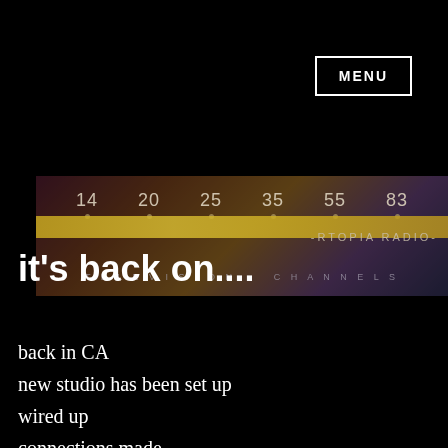MENU
[Figure (photo): Close-up photo of an old television/radio tuner dial showing channel numbers 14, 20, 25, 35, 55, 83 with a gold/yellow frequency band strip. Text reads 'TELEVISION CHANNELS' and '-RTOPIA RADIO-' overlaid on the image.]
it's back on....
back in CA
new studio has been set up
wired up
connections made
broadcasting...